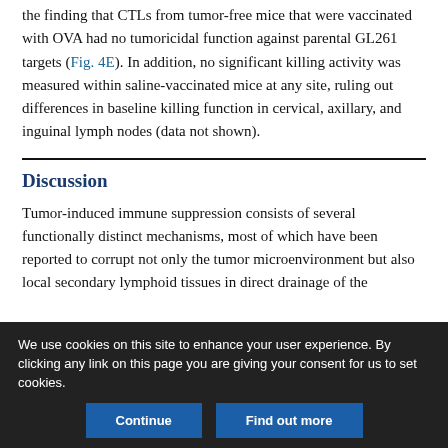the finding that CTLs from tumor-free mice that were vaccinated with OVA had no tumoricidal function against parental GL261 targets (Fig. 4E). In addition, no significant killing activity was measured within saline-vaccinated mice at any site, ruling out differences in baseline killing function in cervical, axillary, and inguinal lymph nodes (data not shown).
Discussion
Tumor-induced immune suppression consists of several functionally distinct mechanisms, most of which have been reported to corrupt not only the tumor microenvironment but also local secondary lymphoid tissues in direct drainage of the
We use cookies on this site to enhance your user experience. By clicking any link on this page you are giving your consent for us to set cookies.